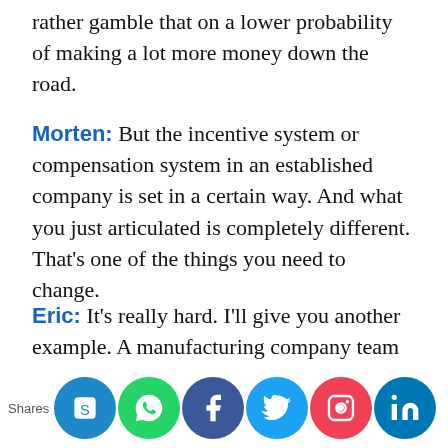rather gamble that on a lower probability of making a lot more money down the road.
Morten: But the incentive system or compensation system in an established company is set in a certain way. And what you just articulated is completely different. That’s one of the things you need to change.
Eric: It’s really hard. I’ll give you another example. A manufacturing company team had come to a three-day workshop about lean startups that the company had sponsored them to do. It was an American company, but they